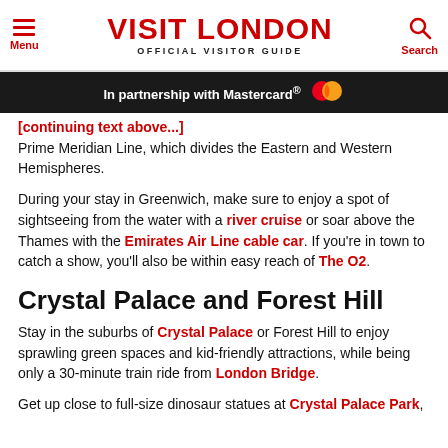Menu | VISIT LONDON OFFICIAL VISITOR GUIDE | Search
In partnership with Mastercard®
Prime Meridian Line, which divides the Eastern and Western Hemispheres.
During your stay in Greenwich, make sure to enjoy a spot of sightseeing from the water with a river cruise or soar above the Thames with the Emirates Air Line cable car. If you're in town to catch a show, you'll also be within easy reach of The O2.
Crystal Palace and Forest Hill
Stay in the suburbs of Crystal Palace or Forest Hill to enjoy sprawling green spaces and kid-friendly attractions, while being only a 30-minute train ride from London Bridge.
Get up close to full-size dinosaur statues at Crystal Palace Park,